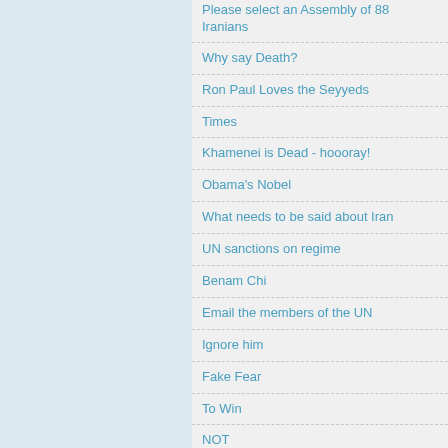Please select an Assembly of 88 Iranians
Why say Death?
Ron Paul Loves the Seyyeds
Times
Khamenei is Dead - hoooray!
Obama's Nobel
What needs to be said about Iran
UN sanctions on regime
Benam Chi
Email the members of the UN
Ignore him
Fake Fear
To Win
NOT
The Full Moon separating the Wheat from the Chaff.
Choice and Free Will found first mentioned in Iran
Iran Group at Wall Street Journal